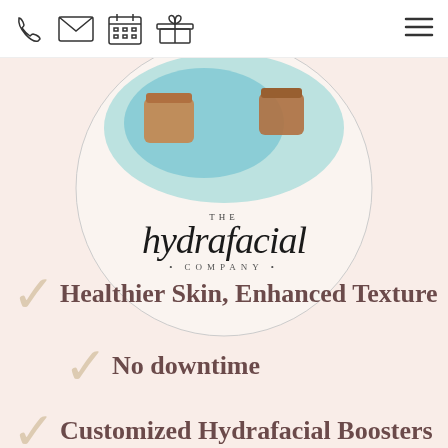[navigation bar with phone, email, calendar, gift icons and hamburger menu]
[Figure (logo): The Hydrafacial Company logo inside a circle with skincare product images at top]
Healthier Skin, Enhanced Texture
No downtime
Customized Hydrafacial Boosters